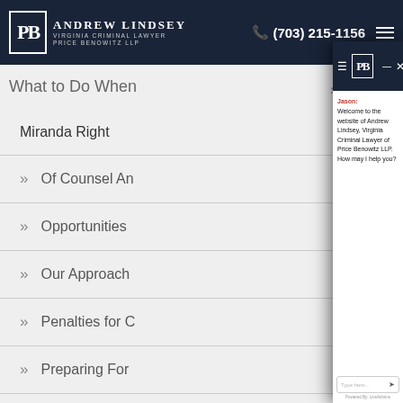[Figure (screenshot): Website header navigation bar for Andrew Lindsey Virginia Criminal Lawyer Price Benowitz LLP with phone number (703) 215-1156 and hamburger menu]
[Figure (screenshot): Background page showing partial menu items: What to Do When, Miranda Right, Of Counsel An, Opportunities, Our Approach, Penalties for C, Preparing For (truncated by chat overlay)]
[Figure (screenshot): Chat widget overlay showing Andrew Lindsey Price Benowitz LLP logo in header with hamburger and X buttons, chat message from Jason welcoming user to the website of Andrew Lindsey Virginia Criminal Lawyer of Price Benowitz LLP, input box with 'Type here...' placeholder, Powered By: LiveAdmins footer]